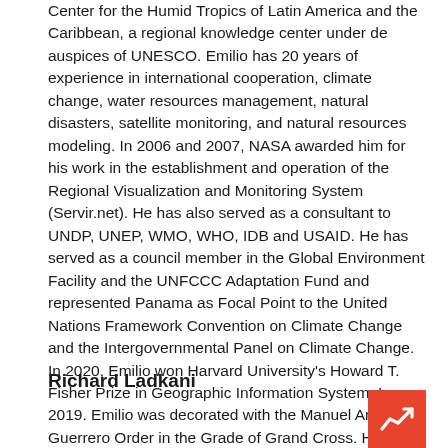Center for the Humid Tropics of Latin America and the Caribbean, a regional knowledge center under de auspices of UNESCO. Emilio has 20 years of experience in international cooperation, climate change, water resources management, natural disasters, satellite monitoring, and natural resources modeling. In 2006 and 2007, NASA awarded him for his work in the establishment and operation of the Regional Visualization and Monitoring System (Servir.net). He has also served as a consultant to UNDP, UNEP, WMO, WHO, IDB and USAID. He has served as a council member in the Global Environment Facility and the UNFCCC Adaptation Fund and represented Panama as Focal Point to the United Nations Framework Convention on Climate Change and the Intergovernmental Panel on Climate Change. In 2020, Emilio won Harvard University's Howard T. Fisher Prize in Geographic Information System. In 2019. Emilio was decorated with the Manuel Amador Guerrero Order in the Grade of Grand Cross. He is a Fulbright alumnus of 1998. He is the CoFounder of the startup Brundtland School of Local Prosperity and Governance.
Richard Ladkani
[Figure (other): Orange/red square icon with a white trending-up arrow symbol]